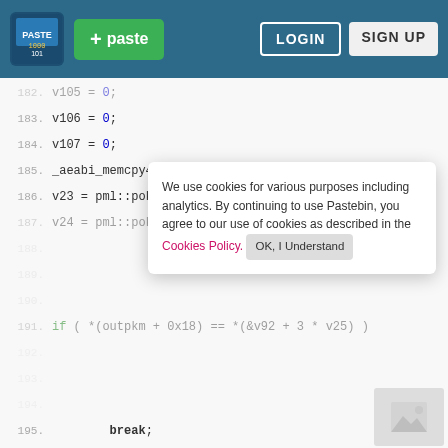[Figure (screenshot): Pastebin website header with logo, green paste button, LOGIN and SIGN UP buttons on teal background]
182. v105 = 0;
183. v106 = 0;
184. v107 = 0;
185. _aeabi_memcpy4(&v92, &incenseTable, 108);
186. v23 = pml::pokepara::CoreParam::GetItem(*v5);
187. v24 = pml::pokepara::CoreParam::GetItem(v5[1]);
We use cookies for various purposes including analytics. By continuing to use Pastebin, you agree to our use of cookies as described in the Cookies Policy. OK, I Understand
Not a member of Pastebin yet? Sign Up, it unlocks many cool features!
191. if ( *(outpkm + 0x18) == *(&v92 + 3 * v25) )
195.     break;
196. }
197. if ( ++v25 >= 0xC )
198.   goto LABEL_41;